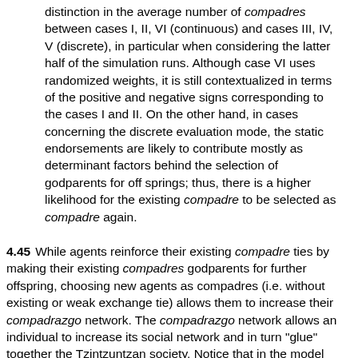distinction in the average number of compadres between cases I, II, VI (continuous) and cases III, IV, V (discrete), in particular when considering the latter half of the simulation runs. Although case VI uses randomized weights, it is still contextualized in terms of the positive and negative signs corresponding to the cases I and II. On the other hand, in cases concerning the discrete evaluation mode, the static endorsements are likely to contribute mostly as determinant factors behind the selection of godparents for off springs; thus, there is a higher likelihood for the existing compadre to be selected as compadre again.
4.45  While agents reinforce their existing compadre ties by making their existing compadres godparents for further offspring, choosing new agents as compadres (i.e. without existing or weak exchange tie) allows them to increase their compadrazgo network. The compadrazgo network allows an individual to increase its social network and in turn "glue" together the Tzintzuntzan society. Notice that in the model the average number of compadres depends